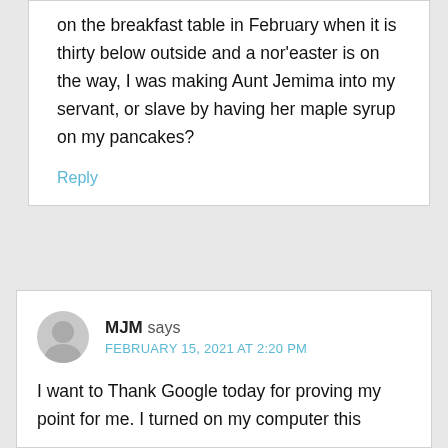on the breakfast table in February when it is thirty below outside and a nor'easter is on the way, I was making Aunt Jemima into my servant, or slave by having her maple syrup on my pancakes?
Reply
MJM says
FEBRUARY 15, 2021 AT 2:20 PM
I want to Thank Google today for proving my point for me. I turned on my computer this